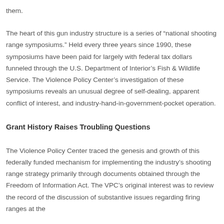them.
The heart of this gun industry structure is a series of “national shooting range symposiums.” Held every three years since 1990, these symposiums have been paid for largely with federal tax dollars funneled through the U.S. Department of Interior’s Fish & Wildlife Service. The Violence Policy Center’s investigation of these symposiums reveals an unusual degree of self-dealing, apparent conflict of interest, and industry-hand-in-government-pocket operation.
Grant History Raises Troubling Questions
The Violence Policy Center traced the genesis and growth of this federally funded mechanism for implementing the industry’s shooting range strategy primarily through documents obtained through the Freedom of Information Act. The VPC’s original interest was to review the record of the discussion of substantive issues regarding firing ranges at the